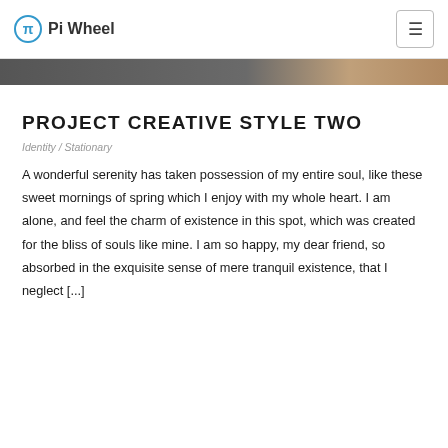Pi Wheel
[Figure (photo): Partial image strip showing a dark background with a skin-toned element on the right side]
PROJECT CREATIVE STYLE TWO
Identity / Stationary
A wonderful serenity has taken possession of my entire soul, like these sweet mornings of spring which I enjoy with my whole heart. I am alone, and feel the charm of existence in this spot, which was created for the bliss of souls like mine. I am so happy, my dear friend, so absorbed in the exquisite sense of mere tranquil existence, that I neglect [...]